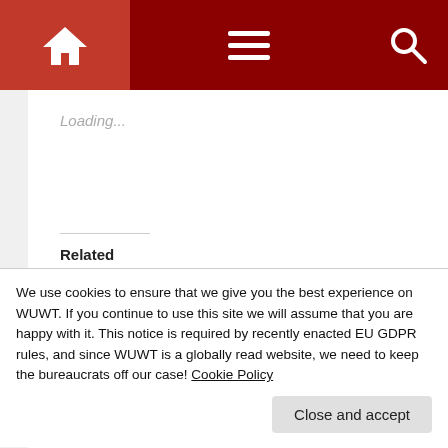Navigation bar with home, menu, and search icons
Loading...
Related
[Figure (photo): Aerial or satellite view of Arctic sea ice — white ice mass on dark blue ocean background]
'Arctic sea ice continues its downward spiral'… Warmunists keep using that word. I do not think it means what they think it
We use cookies to ensure that we give you the best experience on WUWT. If you continue to use this site we will assume that you are happy with it. This notice is required by recently enacted EU GDPR rules, and since WUWT is a globally read website, we need to keep the bureaucrats off our case! Cookie Policy
Close and accept
In "Climate FAIL"